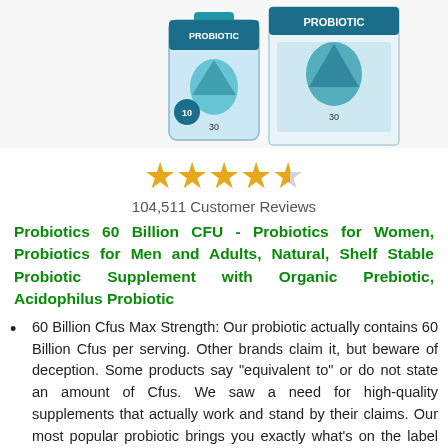[Figure (photo): Product image of Probiotics 60 Billion CFU supplement bottle and box packaging with teal/blue design]
★★★★½ 104,511 Customer Reviews
Probiotics 60 Billion CFU - Probiotics for Women, Probiotics for Men and Adults, Natural, Shelf Stable Probiotic Supplement with Organic Prebiotic, Acidophilus Probiotic
60 Billion Cfus Max Strength: Our probiotic actually contains 60 Billion Cfus per serving. Other brands claim it, but beware of deception. Some products say "equivalent to" or do not state an amount of Cfus. We saw a need for high-quality supplements that actually work and stand by their claims. Our most popular probiotic brings you exactly what's on the label with 10 probiotic strains, a billion cfus, lacto and acidophilus probiotic.